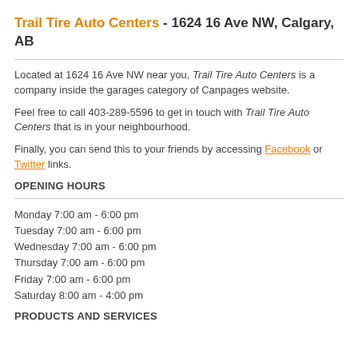Trail Tire Auto Centers - 1624 16 Ave NW, Calgary, AB
Located at 1624 16 Ave NW near you, Trail Tire Auto Centers is a company inside the garages category of Canpages website.
Feel free to call 403-289-5596 to get in touch with Trail Tire Auto Centers that is in your neighbourhood.
Finally, you can send this to your friends by accessing Facebook or Twitter links.
OPENING HOURS
Monday 7:00 am - 6:00 pm
Tuesday 7:00 am - 6:00 pm
Wednesday 7:00 am - 6:00 pm
Thursday 7:00 am - 6:00 pm
Friday 7:00 am - 6:00 pm
Saturday 8:00 am - 4:00 pm
PRODUCTS AND SERVICES